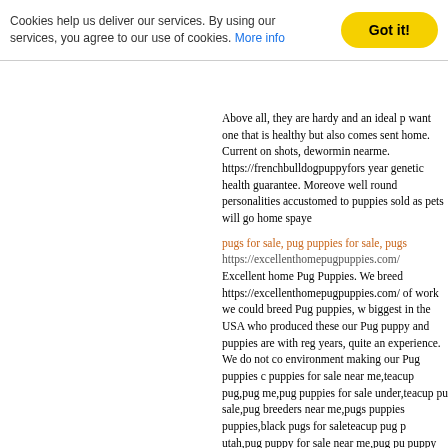Cookies help us deliver our services. By using our services, you agree to our use of cookies. More info [Got it! button]
Above all, they are hardy and an ideal p... want one that is healthy but also comes... sent home. Current on shots, deworming... nearme. https://frenchbulldogpuppyfors... year genetic health guarantee. Moreover... well round personalities accustomed to... puppies sold as pets will go home spaye...
pugs for sale, pug puppies for sale, pugs... https://excellenthomepugpuppies.com/ Excellent home Pug Puppies. We breed... https://excellenthomepugpuppies.com/ W... of work we could breed Pug puppies, w... biggest in the USA who produced these... our Pug puppy and puppies are with reg... years, quite an experience. We do not c... environment making our Pug puppies c... puppies for sale near me,teacup pug,pug... me,pug puppies for sale under,teacup pu... sale,pug breeders near me,pugs puppies... puppies,black pugs for saleteacup pug p... utah,pug puppy for sale near me,pug pu... puppy for sale illinois,pug puppy for sal... puppy for sale adelaide,pug puppy for s... for sale ayrshire,pom-a-pug puppies fo... puppy for sale melbourne,pug puppy fo... for sale bc,pug puppy for sale buffalo ny... belleville,pug puppy for sale california,... sale ct,pug puppy for sale cardiff,pug pu... sale devon,pug puppy for sale dubai,pug... for sale darwin,pug puppy for sale essex... eastern cape,pug puppies for sale el pas...